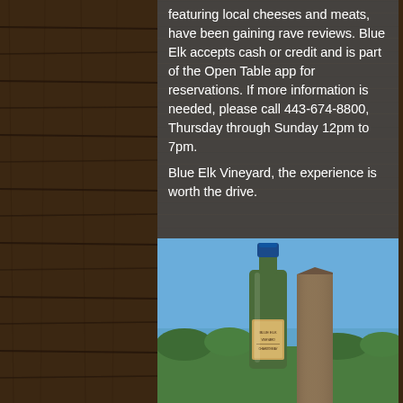featuring local cheeses and meats, have been gaining rave reviews. Blue Elk accepts cash or credit and is part of the Open Table app for reservations. If more information is needed, please call 443-674-8800, Thursday through Sunday 12pm to 7pm.
Blue Elk Vineyard, the experience is worth the drive.
[Figure (photo): Photo of a wine bottle labeled 'Blue Elk' standing on a wooden post outdoors with blue sky, water, and trees in background. A circular back-to-top arrow button overlays the bottom right.]